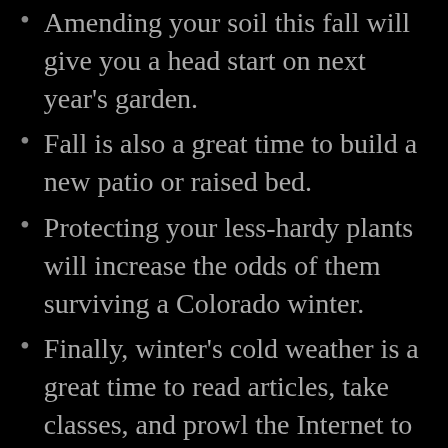Amending your soil this fall will give you a head start on next year's garden.
Fall is also a great time to build a new patio or raised bed.
Protecting your less-hardy plants will increase the odds of them surviving a Colorado winter.
Finally, winter's cold weather is a great time to read articles, take classes, and prowl the Internet to become a more